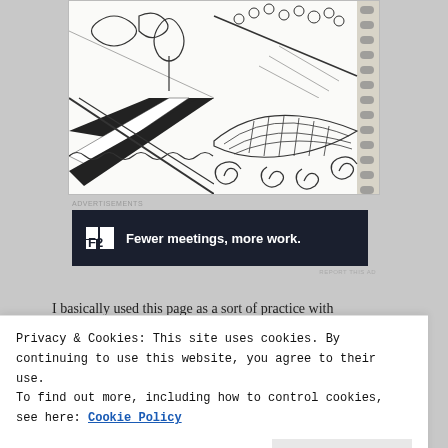[Figure (photo): A sketchbook page showing Zentangle-style drawings arranged in a grid of 6 panels, each containing different decorative patterns including spirals, feathers, diagonal stripes, and ornamental designs. The book has a spiral binding visible on the right side.]
Advertisements
[Figure (other): Advertisement banner with dark navy background showing a square icon with 'F2' text and the tagline 'Fewer meetings, more work.']
REPORT THIS AD
I basically used this page as a sort of practice with
Privacy & Cookies: This site uses cookies. By continuing to use this website, you agree to their use.
To find out more, including how to control cookies, see here: Cookie Policy
Close and accept